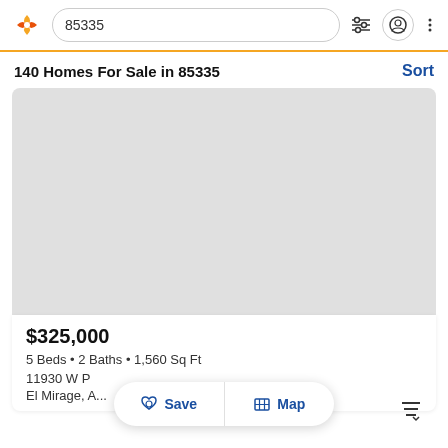85335
140 Homes For Sale in 85335
[Figure (photo): Property listing photo placeholder - light gray rectangle representing a home image]
$325,000
5 Beds • 2 Baths • 1,560 Sq Ft
11930 W P
El Mirage, A...